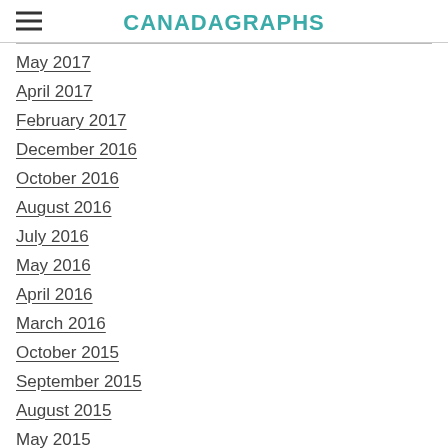CANADAGRAPHS
May 2017
April 2017
February 2017
December 2016
October 2016
August 2016
July 2016
May 2016
April 2016
March 2016
October 2015
September 2015
August 2015
May 2015